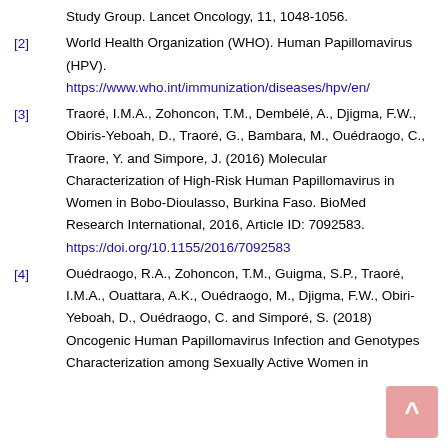Study Group. Lancet Oncology, 11, 1048-1056.
[2] World Health Organization (WHO). Human Papillomavirus (HPV). https://www.who.int/immunization/diseases/hpv/en/
[3] Traoré, I.M.A., Zohoncon, T.M., Dembélé, A., Djigma, F.W., Obiris-Yeboah, D., Traoré, G., Bambara, M., Ouédraogo, C., Traore, Y. and Simpore, J. (2016) Molecular Characterization of High-Risk Human Papillomavirus in Women in Bobo-Dioulasso, Burkina Faso. BioMed Research International, 2016, Article ID: 7092583. https://doi.org/10.1155/2016/7092583
[4] Ouédraogo, R.A., Zohoncon, T.M., Guigma, S.P., Traoré, I.M.A., Ouattara, A.K., Ouédraogo, M., Djigma, F.W., Obiri-Yeboah, D., Ouédraogo, C. and Simporé, S. (2018) Oncogenic Human Papillomavirus Infection and Genotypes Characterization among Sexually Active Women in